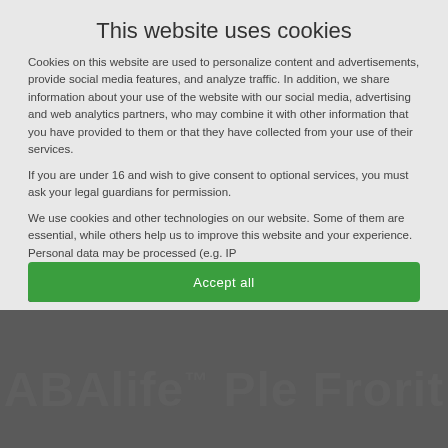This website uses cookies
Cookies on this website are used to personalize content and advertisements, provide social media features, and analyze traffic. In addition, we share information about your use of the website with our social media, advertising and web analytics partners, who may combine it with other information that you have provided to them or that they have collected from your use of their services.
If you are under 16 and wish to give consent to optional services, you must ask your legal guardians for permission.
We use cookies and other technologies on our website. Some of them are essential, while others help us to improve this website and your experience. Personal data may be processed (e.g. IP
Essential
Statistical
Marketing
Accept all
ABAlifeTM Ple Frorit